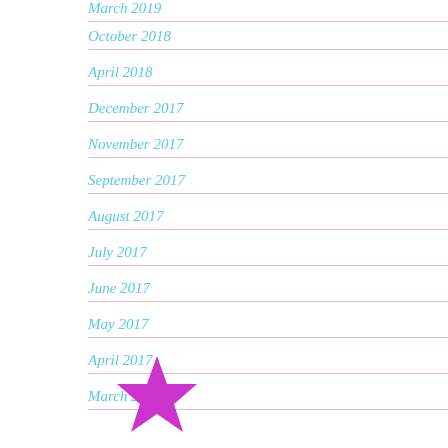March 2019
October 2018
April 2018
December 2017
November 2017
September 2017
August 2017
July 2017
June 2017
May 2017
April 2017
March 2017
[Figure (illustration): A magenta/purple star icon at the bottom of the page]